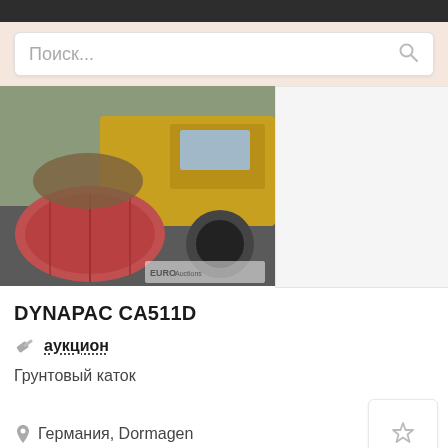Поиск...
[Figure (photo): Road roller / compactor machine (DYNAPAC CA511D) photographed outdoors, showing the pink/red compaction drum and yellow body, with a EuroAuctions watermark]
DYNAPAC CA511D
аукцион
Грунтовый каток
Германия, Dormagen
[Figure (photo): Empty placeholder card 1]
[Figure (photo): Empty placeholder card 2]
[Figure (photo): Empty placeholder card 3]